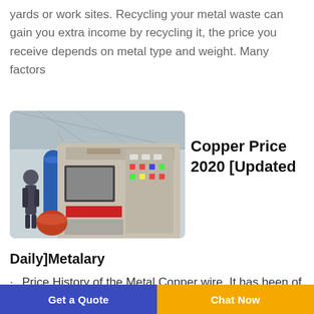yards or work sites. Recycling your metal waste can gain you extra income by recycling it, the price you receive depends on metal type and weight. Many factors
[Figure (photo): Industrial machine, likely a copper wire recycling or granulating machine, in a factory setting. The machine is large, grey/beige colored, with control panels. A worker is visible on the left side.]
Copper Price 2020 [Updated
Daily]Metalary
Price History of the Metal Copper wire. It has been of the most popular metals for technological advancements in
Get a Quote | Chat Now